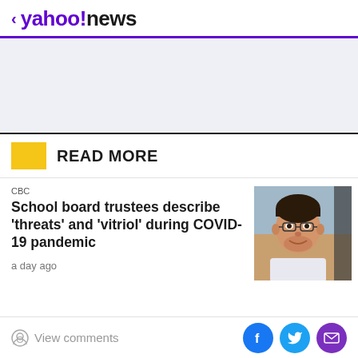< yahoo!news
[Figure (other): Advertisement placeholder area, light blue-grey background]
READ MORE
CBC
School board trustees describe 'threats' and 'vitriol' during COVID-19 pandemic
[Figure (photo): Photo of a man with glasses smiling, outdoors]
a day ago
View comments | Share on Facebook | Share on Twitter | Share via Email